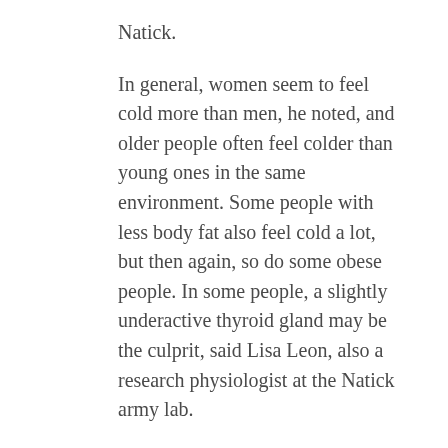Natick.
In general, women seem to feel cold more than men, he noted, and older people often feel colder than young ones in the same environment. Some people with less body fat also feel cold a lot, but then again, so do some obese people. In some people, a slightly underactive thyroid gland may be the culprit, said Lisa Leon, also a research physiologist at the Natick army lab.
“There is no simple physiological indicator” of who will feel cold and who won’t, said Matthew Kluger, a fever expert and vice president for research at the Medical College of Georgia.
Researchers have tried to predict who will do well in what kind of environment – hot or cold – and have found no clear markers, such as the rate of sweating or the ability of the blood vessels to